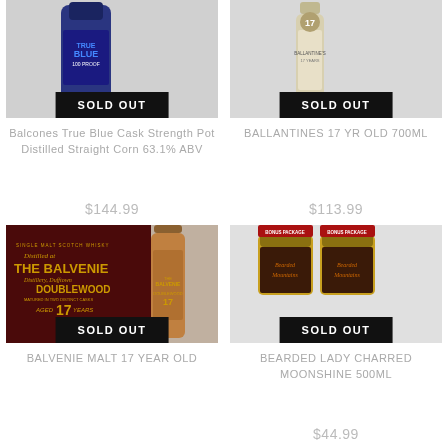[Figure (photo): Balcones True Blue 100 Proof bottle with SOLD OUT badge]
Balcones True Blue Cask Strength Pot Distilled Straight Corn 63.1% ABV
$144.99
[Figure (photo): Ballantines 17 Years bottle with SOLD OUT badge]
BALLANTINES 17 YR OLD 700ML
$113.99
[Figure (photo): The Balvenie DoubleWood 17 Year old Single Malt Scotch Whisky bottle with SOLD OUT badge]
BALVENIE MALT 17 YEAR OLD
[Figure (photo): Bearded Lady Charred Moonshine 500ml jars with SOLD OUT badge]
BEARDED LADY CHARRED MOONSHINE 500ML
$44.99